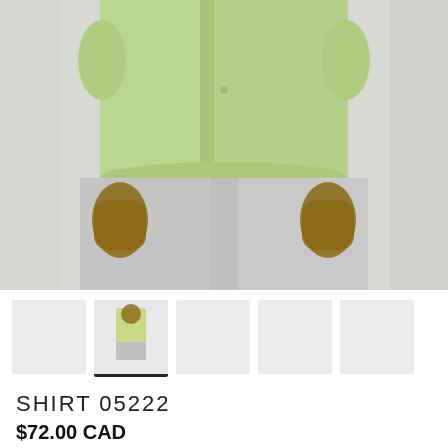[Figure (photo): Close-up photo of a child wearing a light green short-sleeve button-up shirt and grey linen pants, standing against a white textured wall. Only the torso and hands are visible.]
[Figure (photo): Thumbnail gallery showing 5 product images; second thumbnail is selected (shows child in green shirt full body), others are light grey placeholders.]
SHIRT 05222
$72.00 CAD
2 in stock